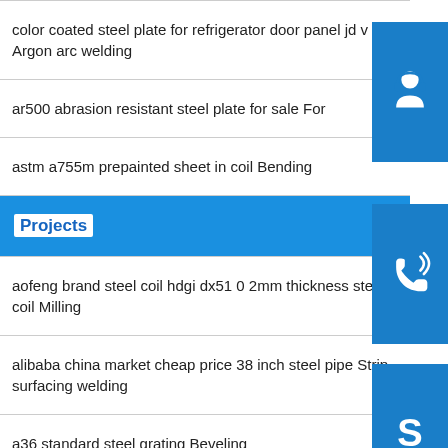color coated steel plate for refrigerator door panel jd v pw Argon arc welding
ar500 abrasion resistant steel plate for sale For
astm a755m prepainted sheet in coil Bending
Projects
aofeng brand steel coil hdgi dx51 0 2mm thickness steel coil Milling
alibaba china market cheap price 38 inch steel pipe Strip surfacing welding
a36 standard steel grating Beveling